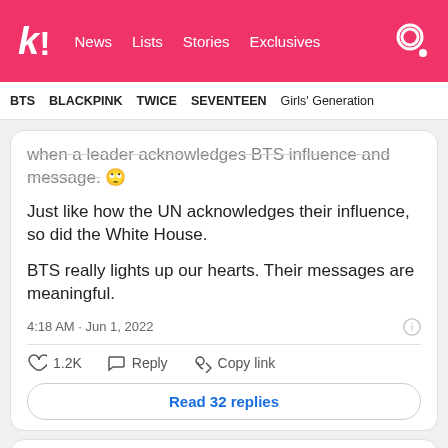Koreaboo | News | Lists | Stories | Exclusives
BTS | BLACKPINK | TWICE | SEVENTEEN | Girls' Generation
when a leader acknowledges BTS influence and message. 🙄
Just like how the UN acknowledges their influence, so did the White House.
BTS really lights up our hearts. Their messages are meaningful.
4:18 AM · Jun 1, 2022
♡ 1.2K   Reply   Copy link
Read 32 replies